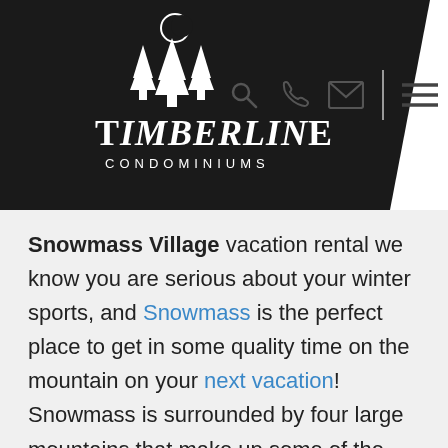[Figure (logo): Timberline Condominiums logo — white trees and moon icon above stylized text 'TIMBERLINE CONDOMINIUMS' on a dark background trapezoid shape]
[Figure (other): Navigation bar icons: search (magnifying glass), phone, envelope/mail, vertical divider line, hamburger menu]
Snowmass Village vacation rental we know you are serious about your winter sports, and Snowmass is the perfect place to get in some quality time on the mountain on your next vacation! Snowmass is surrounded by four large mountains that make up some of the best skiing and snowboarding in the country. Snowmass Mountain alone has over 150 miles of trails with more than 4000 vertical feet of elevation. Locals claim that you can spend your entire trip to Snowmass skiing and riding through the terrain without covering the same ground twice. Snowmass Mountain has some of the best